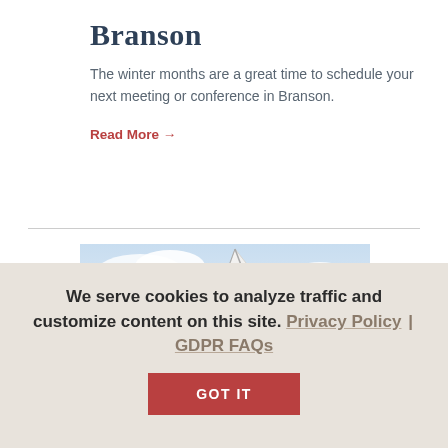Branson
The winter months are a great time to schedule your next meeting or conference in Branson.
Read More →
[Figure (photo): Group of people viewed from behind on a sailboat under a partly cloudy sky]
We serve cookies to analyze traffic and customize content on this site. Privacy Policy | GDPR FAQs
GOT IT